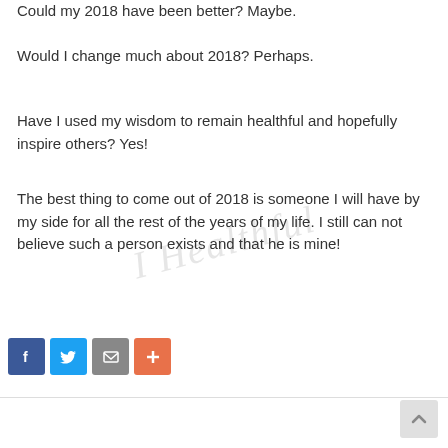Could my 2018 have been better? Maybe.
Would I change much about 2018? Perhaps.
Have I used my wisdom to remain healthful and hopefully inspire others? Yes!
The best thing to come out of 2018 is someone I will have by my side for all the rest of the years of my life. I still can not believe such a person exists and that he is mine!
[Figure (infographic): Social share buttons: Facebook (blue), Twitter (light blue), Email (gray), Plus/More (orange-red)]